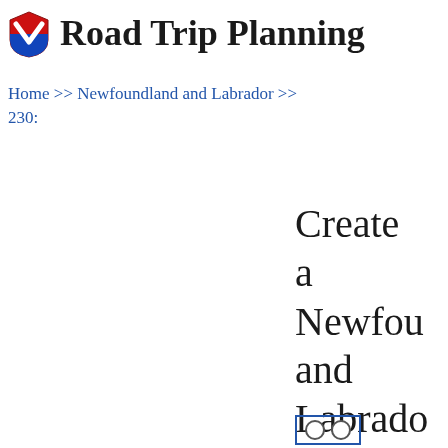Road Trip Planning
Home >> Newfoundland and Labrador >> 230:
Create a Newfoundland and Labrador #230 PDF